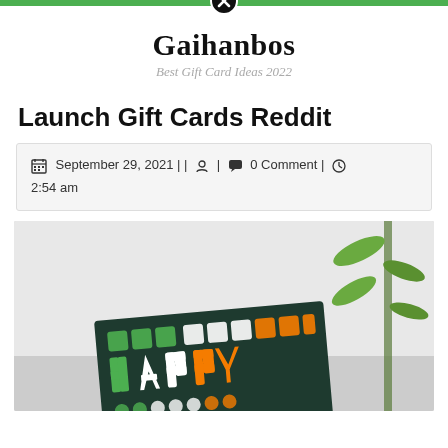Gaihanbos — Best Gift Card Ideas 2022
Launch Gift Cards Reddit
September 29, 2021 | | [user icon] | [comment icon] 0 Comment | [clock icon] 2:54 am
[Figure (photo): A greeting card with colorful grid pattern reading HAPPY, placed on a surface with a green plant in background]